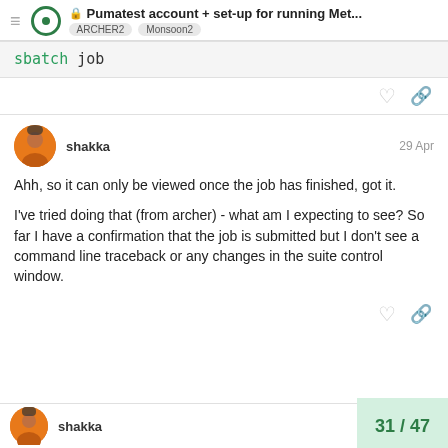Pumatest account + set-up for running Met... ARCHER2 Monsoon2
sbatch job
shakka  29 Apr
Ahh, so it can only be viewed once the job has finished, got it.

I've tried doing that (from archer) - what am I expecting to see? So far I have a confirmation that the job is submitted but I don't see a command line traceback or any changes in the suite control window.
shakka  31 / 47